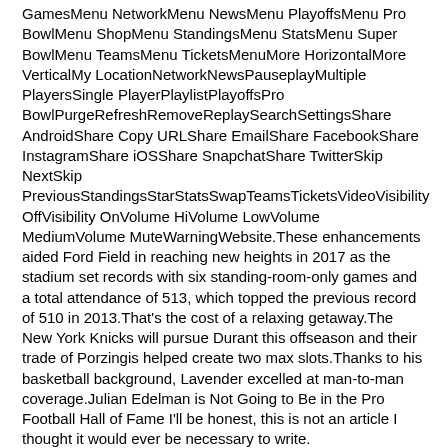GamesMenu NetworkMenu NewsMenu PlayoffsMenu Pro BowlMenu ShopMenu StandingsMenu StatsMenu Super BowlMenu TeamsMenu TicketsMenuMore HorizontalMore VerticalMy LocationNetworkNewsPauseplayMultiple PlayersSingle PlayerPlaylistPlayoffsPro BowlPurgeRefreshRemoveReplaySearchSettingsShare AndroidShare Copy URLShare EmailShare FacebookShare InstagramShare iOSShare SnapchatShare TwitterSkip NextSkip PreviousStandingsStarStatsSwapTeamsTicketsVideoVisibility OffVisibility OnVolume HiVolume LowVolume MediumVolume MuteWarningWebsite.These enhancements aided Ford Field in reaching new heights in 2017 as the stadium set records with six standing-room-only games and a total attendance of 513, which topped the previous record of 510 in 2013.That's the cost of a relaxing getaway.The New York Knicks will pursue Durant this offseason and their trade of Porzingis helped create two max slots.Thanks to his basketball background, Lavender excelled at man-to-man coverage.Julian Edelman is Not Going to Be in the Pro Football Hall of Fame I'll be honest, this is not an article I thought it would ever be necessary to write.
If you're thinking Jameson Taillon Womens Jersey of a new car to start 2019 right, but a tight budget is holding you back, these affordable lease deals could be just what you need.Jackson said energy is the biggest difference he saw Tuesday.So they can just call them up on the phone-we'll be sitting in meetings and they'll just call them and talk to them, and just check in on them.When negotiating a purchase, it's essential to have an experienced adult to assist.Federer insisted to chair umpire James Keothavong that they should replay the point, a request that was denied, drawing the Swiss star's ire.
Mansfield, TX 76063.And he has warned he'll close the southwest border, a threat he's intermittently coned and renewed.Laquinon Rideau added 10...